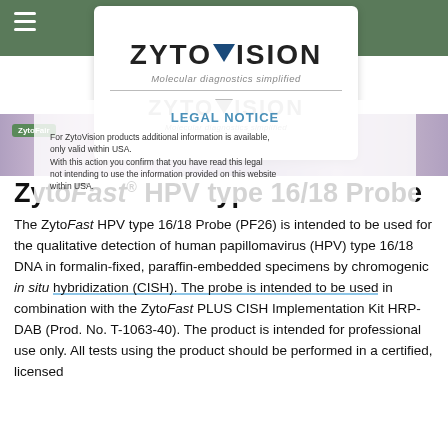[Figure (logo): ZytoVision logo with triangle and tagline 'Molecular diagnostics simplified' on a white card]
[Figure (photo): Microscope image strip showing cells/tissue stained in purple/pink hues]
LEGAL NOTICE
For ZytoVision products additional information is available, only valid within USA. With this action you confirm that you have read this legal not intending to use the information provided on this website within USA.
ZytoFast® HPV type 16/18 Probe
The ZytoFast HPV type 16/18 Probe (PF26) is intended to be used for the qualitative detection of human papillomavirus (HPV) type 16/18 DNA in formalin-fixed, paraffin-embedded specimens by chromogenic in situ hybridization (CISH). The probe is intended to be used in combination with the ZytoFast PLUS CISH Implementation Kit HRP-DAB (Prod. No. T-1063-40). The product is intended for professional use only. All tests using the product should be performed in a certified, licensed